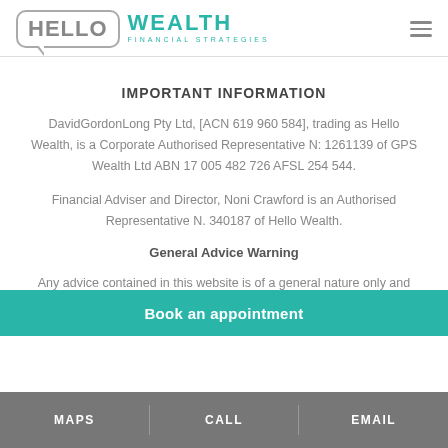[Figure (logo): Hello Wealth Financial Strategies logo with speech bubble icon]
IMPORTANT INFORMATION
DavidGordonLong Pty Ltd, [ACN 619 960 584], trading as Hello Wealth, is a Corporate Authorised Representative N: 1261139 of GPS Wealth Ltd ABN 17 005 482 726 AFSL 254 544.
Financial Adviser and Director, Noni Crawford is an Authorised Representative N. 340187 of Hello Wealth.
General Advice Warning
Any advice contained in this website is of a general nature only and does not take into account the objectives, financial situation or needs of any particular person. Therefore, before
Book an appointment
MAPS   CALL   EMAIL